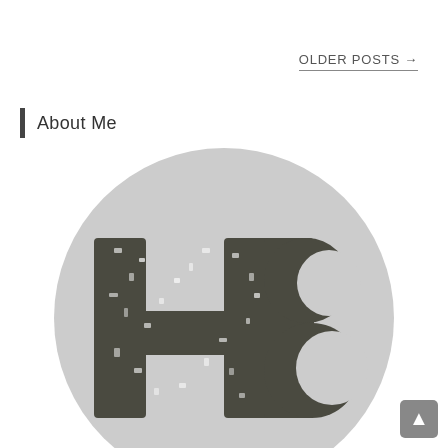OLDER POSTS →
About Me
[Figure (logo): Circular light gray logo with dark gray distressed serif letters 'HB' in the center]